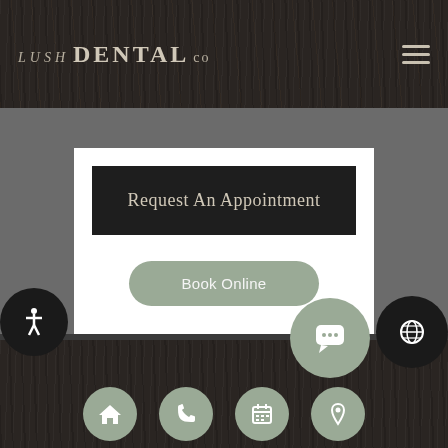LUSH DENTAL CO
Request An Appointment
Book Online
[Figure (screenshot): Navigation footer bar with four icon circles: home, phone, calendar, location pin. Additional circles: accessibility icon (black, left), chat icon (sage green, center-right), globe icon (black, far right).]